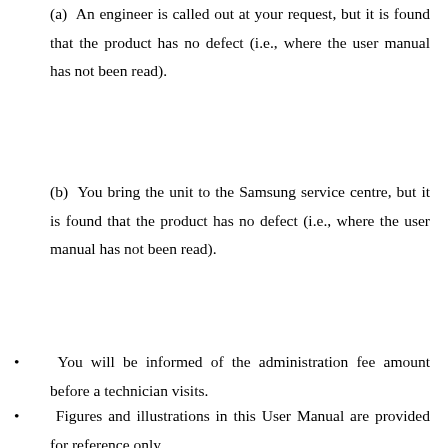(a) An engineer is called out at your request, but it is found that the product has no defect (i.e., where the user manual has not been read).
(b) You bring the unit to the Samsung service centre, but it is found that the product has no defect (i.e., where the user manual has not been read).
You will be informed of the administration fee amount before a technician visits.
Figures and illustrations in this User Manual are provided for reference only